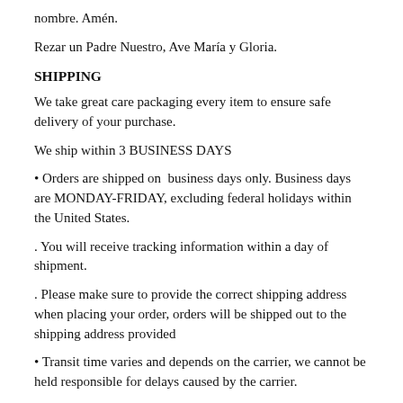nombre. Amén.
Rezar un Padre Nuestro, Ave María y Gloria.
SHIPPING
We take great care packaging every item to ensure safe delivery of your purchase.
We ship within 3 BUSINESS DAYS
• Orders are shipped on  business days only. Business days are MONDAY-FRIDAY, excluding federal holidays within the United States.
. You will receive tracking information within a day of shipment.
. Please make sure to provide the correct shipping address when placing your order, orders will be shipped out to the shipping address provided
• Transit time varies and depends on the carrier, we cannot be held responsible for delays caused by the carrier.